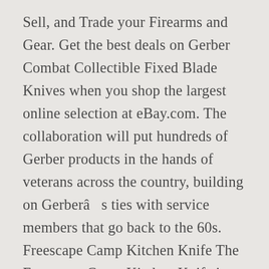Sell, and Trade your Firearms and Gear. Get the best deals on Gerber Combat Collectible Fixed Blade Knives when you shop the largest online selection at eBay.com. The collaboration will put hundreds of Gerber products in the hands of veterans across the country, building on Gerberâs ties with service members that go back to the 60s. Freescape Camp Kitchen Knife The Freescape Camp Kitchen Knife is inspired by a Santoku chefâs knife. ... Gerber Fighting Knife Indiana Original Vietnam War Edged Weapons. Outside of military circles, todayâs knife users are largely unaware of Gerberâs time-honored connection with the warfighter. Overall we found it to be a neat feature but one that you rarely need to use. The